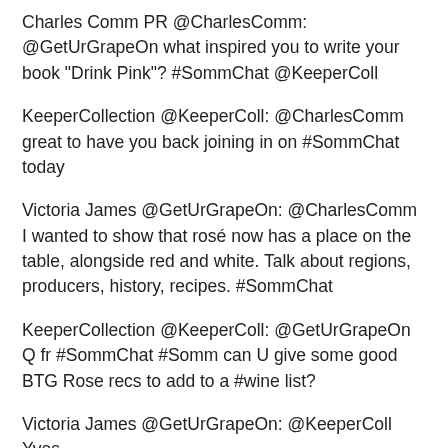Charles Comm PR @CharlesComm: @GetUrGrapeOn what inspired you to write your book "Drink Pink"? #SommChat @KeeperColl
KeeperCollection @KeeperColl: @CharlesComm great to have you back joining in on #SommChat today
Victoria James @GetUrGrapeOn: @CharlesComm I wanted to show that rosé now has a place on the table, alongside red and white. Talk about regions, producers, history, recipes. #SommChat
KeeperCollection @KeeperColl: @GetUrGrapeOn Q fr #SommChat #Somm can U give some good BTG Rose recs to add to a #wine list?
Victoria James @GetUrGrapeOn: @KeeperColl Yves